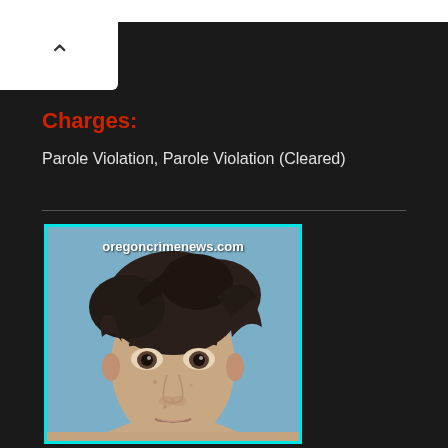Charges:
Parole Violation, Parole Violation (Cleared)
[Figure (photo): Mugshot of a young male with dark, disheveled hair, bare-shouldered, with watermark text 'oregoncrimenews.com' overlaid on the image. Image has a cyan/teal border.]